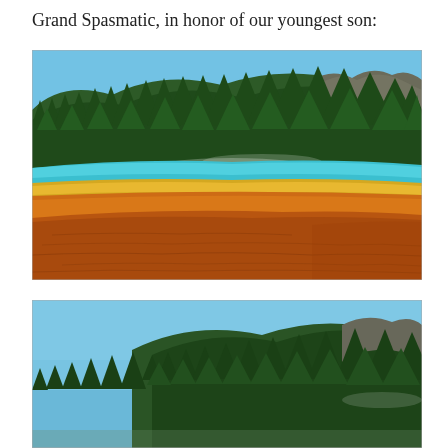Grand Spasmatic, in honor of our youngest son:
[Figure (photo): Photograph of Grand Prismatic Spring at Yellowstone National Park showing vivid orange, yellow, and teal mineral-stained hot spring with steam, framed by densely forested hillside under clear blue sky]
[Figure (photo): Partial/cropped photograph of the same or similar Yellowstone hot spring scene, showing blue sky above and forested hillside, partially cut off at bottom of page]